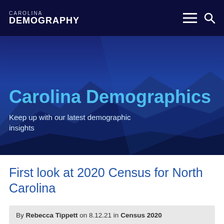CAROLINA DEMOGRAPHY
[Figure (illustration): Carolina Demography hero banner with mountain landscape background in deep blue tones, featuring the text 'Carolina Demographics' and subtitle 'Keep up with our latest demographic insights']
Carolina Demographics
Keep up with our latest demographic insights
First look at 2020 Census for North Carolina
By Rebecca Tippett on 8.12.21 in Census 2020